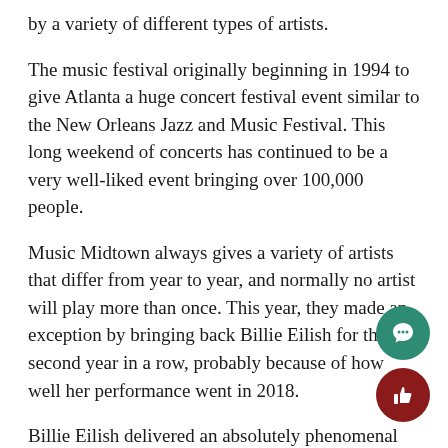by a variety of different types of artists.
The music festival originally beginning in 1994 to give Atlanta a huge concert festival event similar to the New Orleans Jazz and Music Festival. This long weekend of concerts has continued to be a very well-liked event bringing over 100,000 people.
Music Midtown always gives a variety of artists that differ from year to year, and normally no artist will play more than once. This year, they made an exception by bringing back Billie Eilish for the second year in a row, probably because of how well her performance went in 2018.
Billie Eilish delivered an absolutely phenomenal performance in 2018, but I hate to say it, this year her performance was disappointing. Eilish had some sound problems that may have contributed to the lack of